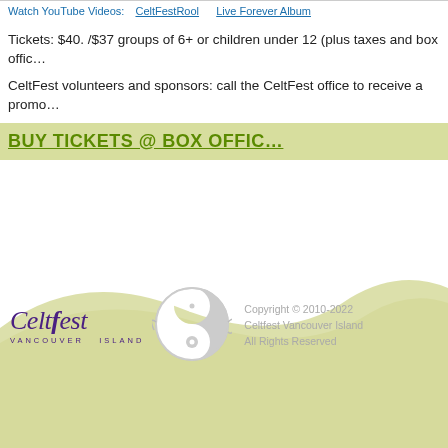Watch YouTube Videos: CeltFestRool   Live Forever Album
Tickets: $40. /$37 groups of 6+ or children under 12 (plus taxes and box offic…
CeltFest volunteers and sponsors: call the CeltFest office to receive a promo…
BUY TICKETS @ BOX OFFIC…
[Figure (logo): CeltFest Vancouver Island logo with stylized text and yin-yang emblem]
Copyright © 2010-2022 Celtfest Vancouver Island All Rights Reserved